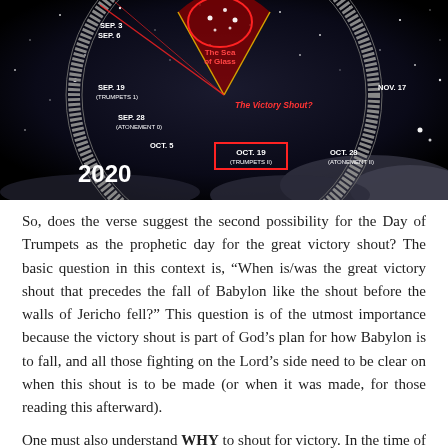[Figure (infographic): A circular star chart/astronomical diagram showing a dark sky with stars and a clock-like outer ring with date markers. Labels include: SEP. 3, SEP. 6, SEP. 19 (TRUMPETS 1), SEP. 28 (ATONEMENT 0), OCT. 5, NOV. 17, OCT. 28 (ATONEMENT 1), OCT. 19 (TRUMPETS II) highlighted in red box, and 'The Victory Shout?' label. A red shaded cone area points toward 'The Sea of Glass' near the top center. The year 2020 is shown in bold white at the bottom left.]
So, does the verse suggest the second possibility for the Day of Trumpets as the prophetic day for the great victory shout? The basic question in this context is, “When is/was the great victory shout that precedes the fall of Babylon like the shout before the walls of Jericho fell?” This question is of the utmost importance because the victory shout is part of God’s plan for how Babylon is to fall, and all those fighting on the Lord’s side need to be clear on when this shout is to be made (or when it was made, for those reading this afterward).
One must also understand WHY to shout for victory. In the time of Jericho, it was a shout of faith, but God